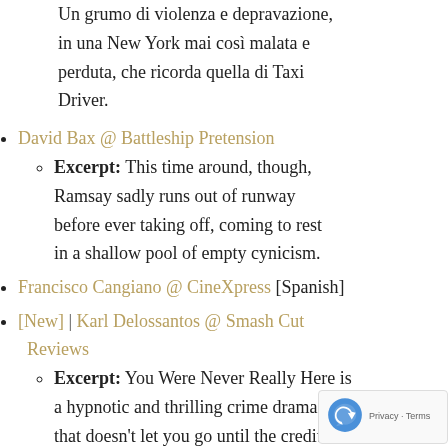Un grumo di violenza e depravazione, in una New York mai così malata e perduta, che ricorda quella di Taxi Driver.
David Bax @ Battleship Pretension
Excerpt: This time around, though, Ramsay sadly runs out of runway before ever taking off, coming to rest in a shallow pool of empty cynicism.
Francisco Cangiano @ CineXpress [Spanish]
[New] | Karl Delossantos @ Smash Cut Reviews
Excerpt: You Were Never Really Here is a hypnotic and thrilling crime drama that doesn't let you go until the credits begin to roll.
Herman Dhaliwal @ Cinema Sanctum